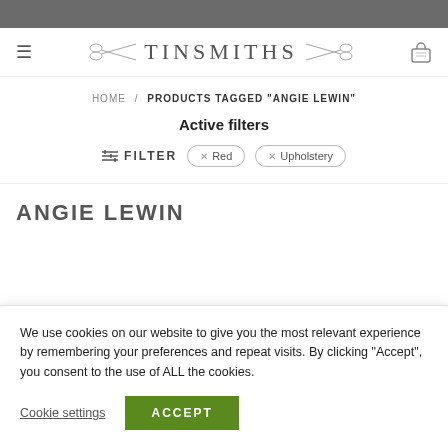TINSMITHS
HOME / PRODUCTS TAGGED "ANGIE LEWIN"
Active filters
FILTER × Red × Upholstery
ANGIE LEWIN
We use cookies on our website to give you the most relevant experience by remembering your preferences and repeat visits. By clicking "Accept", you consent to the use of ALL the cookies.
Cookie settings  ACCEPT